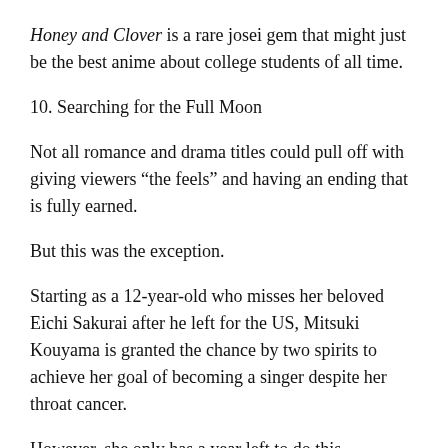Honey and Clover is a rare josei gem that might just be the best anime about college students of all time.
10. Searching for the Full Moon
Not all romance and drama titles could pull off with giving viewers “the feels” and having an ending that is fully earned.
But this was the exception.
Starting as a 12-year-old who misses her beloved Eichi Sakurai after he left for the US, Mitsuki Kouyama is granted the chance by two spirits to achieve her goal of becoming a singer despite her throat cancer.
However, she only has a year left to do this.
Can she pull it off?